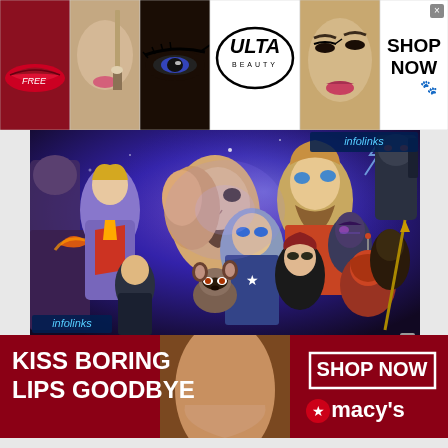[Figure (illustration): ULTA Beauty advertisement banner at top showing makeup/beauty imagery: red lips, woman with makeup brush, dramatic eye makeup, ULTA logo, glamorous woman face, and SHOP NOW call to action]
[Figure (photo): Avengers: Endgame movie promotional poster showing multiple Marvel superhero characters including Iron Man, Captain America, Thor, Captain Marvel, Black Widow, Rocket Raccoon, Ant-Man, War Machine, Hawkeye, Nebula, and Okoye against a purple/blue cosmic background. 'infolinks' watermark visible.]
[Figure (illustration): Macy's advertisement banner with dark red background showing 'KISS BORING LIPS GOODBYE' text on left, woman's face with red lips in center, and 'SHOP NOW' box with Macy's star logo on right]